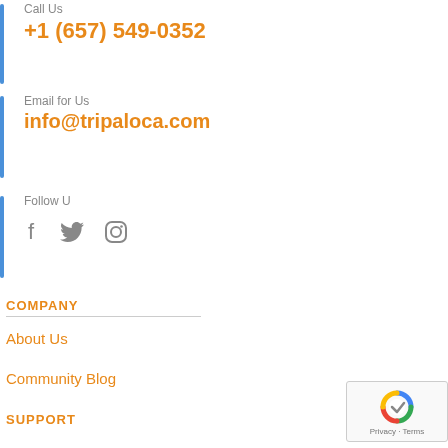Call Us
+1 (657) 549-0352
Email for Us
info@tripaloca.com
Follow U
[Figure (illustration): Social media icons: Facebook, Twitter, Instagram]
COMPANY
About Us
Community Blog
SUPPORT